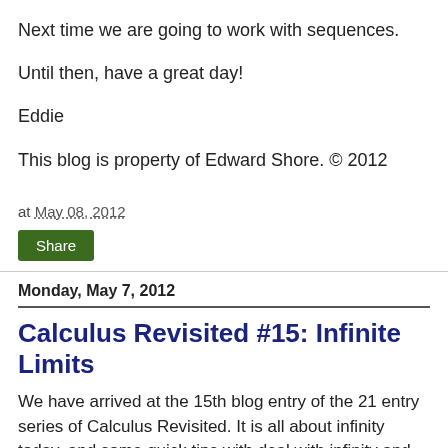Next time we are going to work with sequences.
Until then, have a great day!
Eddie
This blog is property of Edward Shore. © 2012
at May 08, 2012
Share
Monday, May 7, 2012
Calculus Revisited #15: Infinite Limits
We have arrived at the 15th blog entry of the 21 entry series of Calculus Revisited. It is all about infinity today, and some quick tips with deal with infinity and limits.